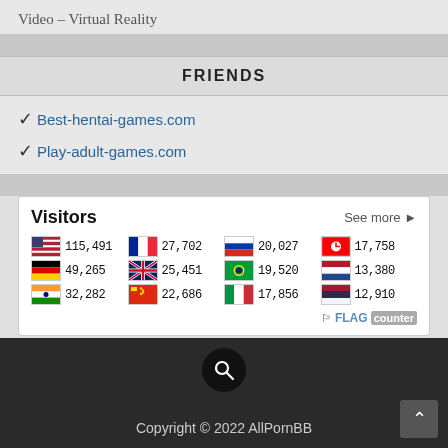Video – Virtual Reality
FRIENDS
✓ Best-hentai-games.com
✓ Play-adult-games.com
[Figure (infographic): Visitors counter widget showing flag icons and visitor counts by country. USA: 115,491 | France: 27,702 | Russia: 20,027 | Canada: 17,758 | Germany: 49,265 | UK: 25,451 | Brazil: 19,520 | Netherlands: 13,380 | India: 32,282 | China: 22,686 | Italy: 17,856 | Thailand: 12,910. FLAG counter logo bottom right.]
Copyright © 2022 AllPornBB